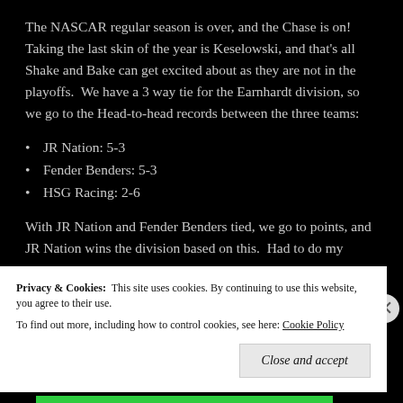The NASCAR regular season is over, and the Chase is on! Taking the last skin of the year is Keselowski, and that's all Shake and Bake can get excited about as they are not in the playoffs.  We have a 3 way tie for the Earnhardt division, so we go to the Head-to-head records between the three teams:
JR Nation: 5-3
Fender Benders: 5-3
HSG Racing: 2-6
With JR Nation and Fender Benders tied, we go to points, and JR Nation wins the division based on this.  Had to do my homework on this one!
Privacy & Cookies:  This site uses cookies. By continuing to use this website, you agree to their use.
To find out more, including how to control cookies, see here: Cookie Policy